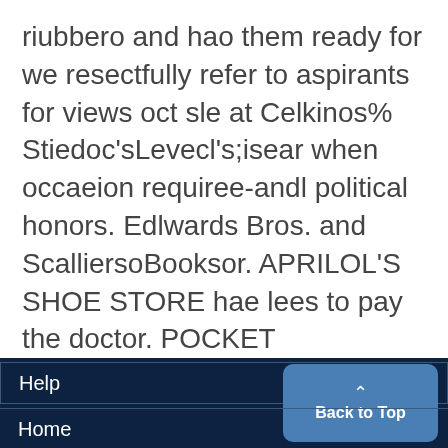riubbero and hao them ready for we resectfully refer to aspirants for views oct sle at Celkinos% Stiedoc'sLevecl's;isear when occaeion requiree-andl political honors. Edlwards Bros. and ScalliersoBooksor. APRILOL'S SHOE STORE hae lees to pay the doctor. POCKET SCISSORS FOR 250 AT MUJMMERY'S DRUG STORE.
Help  Back to Top  Home